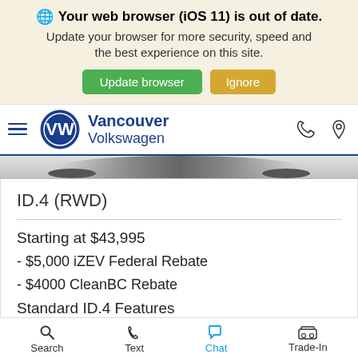Your web browser (iOS 11) is out of date. Update your browser for more security, speed and the best experience on this site.
Update browser | Ignore
Vancouver Volkswagen
[Figure (screenshot): Partial view of a car (ID.4) at bottom of image]
ID.4 (RWD)
Starting at $43,995
- $5,000 iZEV Federal Rebate
- $4000 CleanBC Rebate
Standard ID.4 Features
62 kWh Battery
Search  Text  Chat  Trade-In